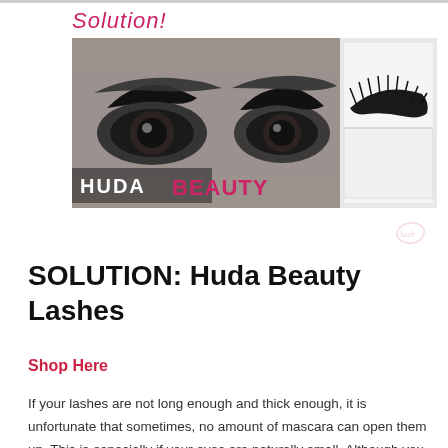Solution!
[Figure (photo): Huda Beauty promotional banner showing close-up of eyes with dramatic lashes on the left panel and a product shot of false lashes on white background on the right panel, with HUDA BEAUTY text overlay]
SOLUTION: Huda Beauty Lashes
Shop Here
If your lashes are not long enough and thick enough, it is unfortunate that sometimes, no amount of mascara can open them up. This is especially if your eyes are naturally small. Although you can